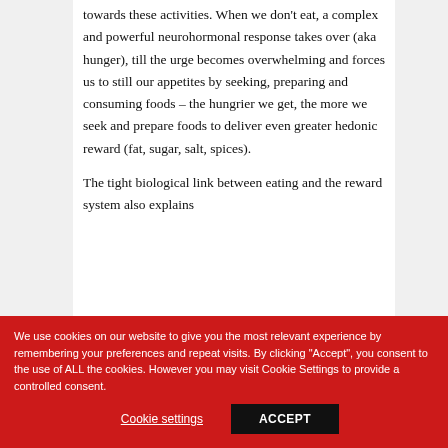towards these activities. When we don't eat, a complex and powerful neurohormonal response takes over (aka hunger), till the urge becomes overwhelming and forces us to still our appetites by seeking, preparing and consuming foods – the hungrier we get, the more we seek and prepare foods to deliver even greater hedonic reward (fat, sugar, salt, spices).

The tight biological link between eating and the reward system also explains
We use cookies on our website to give you the most relevant experience by remembering your preferences and repeat visits. By clicking "Accept", you consent to the use of ALL the cookies. However you may visit Cookie Settings to provide a controlled consent.
Cookie settings
ACCEPT